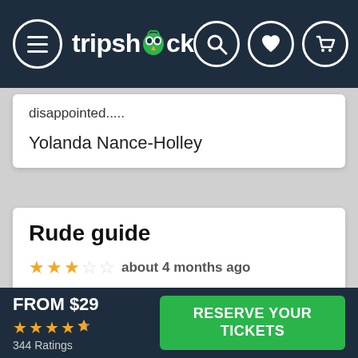[Figure (screenshot): TripShock navigation bar with hamburger menu icon, tripshock logo with owl mascot, and search, heart, and cart icon buttons on dark navy background]
disappointed.....
Yolanda Nance-Holley
Rude guide
★★★☆☆ about 4 months ago
We were coming from another event and got to our tour right at the start time. We
FROM $29
★★★★½ 344 Ratings
RESERVE YOUR TICKETS